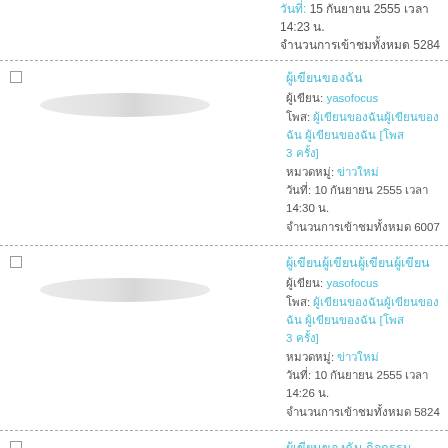วันที่: 15 กันยายน 2555 เวลา 14:23 น. จำนวนการเข้าชมทั้งหมด 5284
ผู้เขียน: yasofocus โพส: [link] หมวดหมู่: ข่าวใหม่ วันที่: 10 กันยายน 2555 เวลา 14:30 น. จำนวนการเข้าชมทั้งหมด 6007
ผู้เขียน: yasofocus โพส: [link] หมวดหมู่: ข่าวใหม่ วันที่: 10 กันยายน 2555 เวลา 14:26 น. จำนวนการเข้าชมทั้งหมด 5824
ผู้เขียน: lailanaangthong โพส: [link] หมวดหมู่: กิจกรรม วันที่: 15 กันยายน 2554 เวลา 16:03 น.